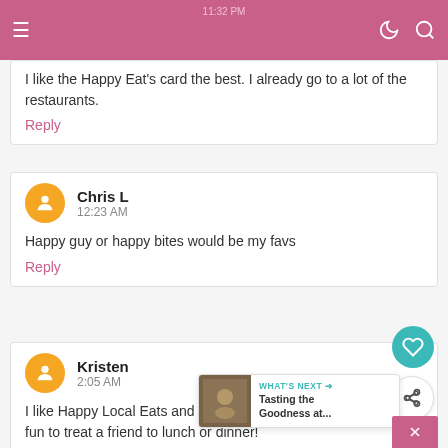11:32 PM
I like the Happy Eat's card the best. I already go to a lot of the restaurants.
Reply
Chris L
12:23 AM
Happy guy or happy bites would be my favs
Reply
Kristen
2:05 AM
I like Happy Local Eats and Happy Dining. W... fun to treat a friend to lunch or dinner!
Reply
WHAT'S NEXT → Tasting the Goodness at...